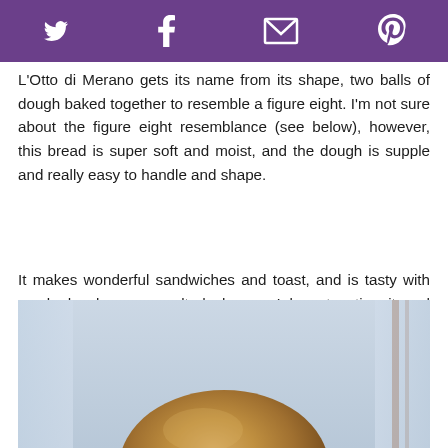[Social share icons: Twitter, Facebook, Email, Pinterest]
L'Otto di Merano gets its name from its shape, two balls of dough baked together to resemble a figure eight. I'm not sure about the figure eight resemblance (see below), however, this bread is super soft and moist, and the dough is supple and really easy to handle and shape.
It makes wonderful sandwiches and toast, and is tasty with smoked salmon or melted cheese. I love toasting it and topping it with a fried egg, salt, and pepper.
[Figure (photo): Photo of bread rolls on a light blue cloth/towel]